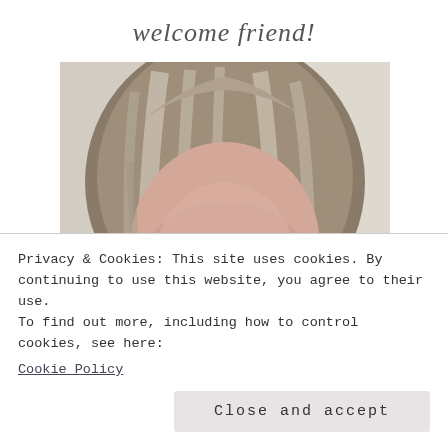welcome friend!
[Figure (photo): Close-up photo of a middle-aged woman with shoulder-length blonde/grey hair, looking directly at camera with a slight smile, against a light background]
Privacy & Cookies: This site uses cookies. By continuing to use this website, you agree to their use.
To find out more, including how to control cookies, see here:
Cookie Policy
Close and accept